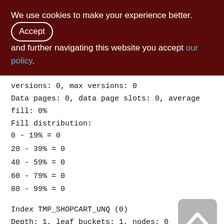We use cookies to make your experience better. By accepting and further navigating this website you accept our policy.
versions: 0, max versions: 0
Data pages: 0, data page slots: 0, average fill: 0%
Fill distribution:
0 - 19% = 0
20 - 39% = 0
40 - 59% = 0
60 - 79% = 0
80 - 99% = 0

Index TMP_SHOPCART_UNQ (0)
Depth: 1, leaf buckets: 1, nodes: 0